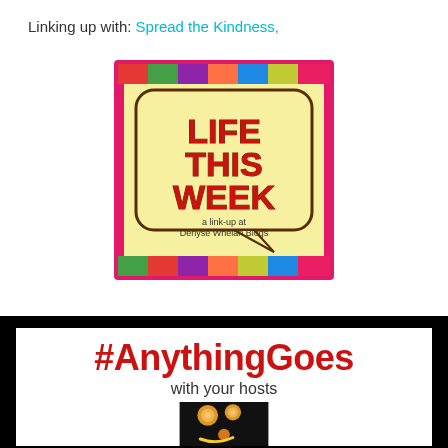Linking up with: Spread the Kindness,
[Figure (logo): Life This Week badge — colorful striped border with speech bubble saying LIFE THIS WEEK, a link-up at Denyse Whelan Blogs]
[Figure (logo): #AnythingGoes with your hosts banner — black border, white background with red hashtag title and orange/citrus fruit smiley face photo]